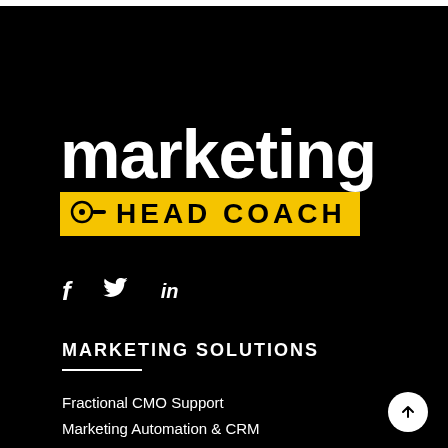[Figure (logo): Marketing Head Coach logo: large white bold 'marketing' text above a yellow banner with whistle icon and 'HEAD COACH' text in black uppercase letters]
[Figure (infographic): Social media icons: Facebook (f), Twitter (bird), LinkedIn (in) in white on black background]
MARKETING SOLUTIONS
Fractional CMO Support
Marketing Automation & CRM